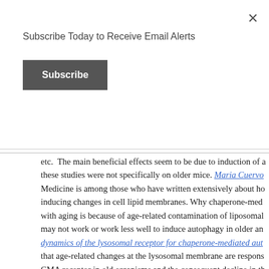Subscribe Today to Receive Email Alerts
Subscribe
etc.  The main beneficial effects seem to be due to induction of a these studies were not specifically on older mice. Maria Cuervo Medicine is among those who have written extensively about ho inducing changes in cell lipid membranes. Why chaperone-med with aging is because of age-related contamination of liposomal may not work or work less well to induce autophagy in older an dynamics of the lysosomal receptor for chaperone-mediated aut that age-related changes at the lysosomal membrane are respons CMA receptor in old organisms and the consequent decline in th effect tcould be due, for example, to consumption of a high fat d
On the other hand, there are publications that suggests that age- older mice can be restored via trehalose:  The 2012 publication impaired autophagy contributes to arterial ageing relates: “In o